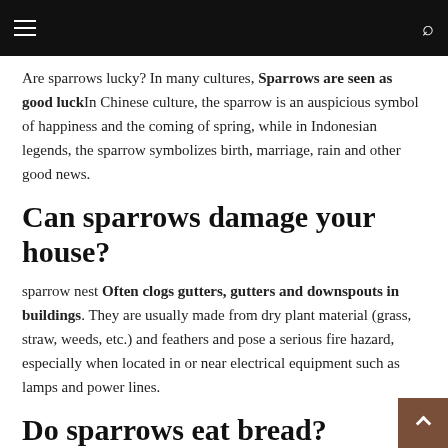Are sparrows lucky? In many cultures, Sparrows are seen as good luckIn Chinese culture, the sparrow is an auspicious symbol of happiness and the coming of spring, while in Indonesian legends, the sparrow symbolizes birth, marriage, rain and other good news.
Can sparrows damage your house?
sparrow nest Often clogs gutters, gutters and downspouts in buildings. They are usually made from dry plant material (grass, straw, weeds, etc.) and feathers and pose a serious fire hazard, especially when located in or near electrical equipment such as lamps and power lines.
Do sparrows eat bread?
Yes. Birds should not be offered many foods for human consumption. Bread (fresh or stale): No real nutritional value to